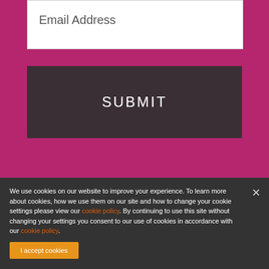Email Address
SUBMIT
[Figure (logo): Wolters Kluwer logo with colored sphere icon]
[Figure (logo): bioMérieux semicircle logo in dark blue with yellow/green stripe]
[Figure (logo): EKFMF bold gray text logo]
We use cookies on our website to improve your experience. To learn more about cookies, how we use them on our site and how to change your cookie settings please view our cookie policy. By continuing to use this site without changing your settings you consent to our use of cookies in accordance with our cookie policy.
I accept cookies